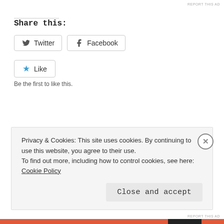REPORT THIS AD
Share this:
Twitter   Facebook
Like  Be the first to like this.
RELATED
'Go To' differentiation strategies
Advice for NQTs…
September 19, 2018
Privacy & Cookies: This site uses cookies. By continuing to use this website, you agree to their use.
To find out more, including how to control cookies, see here: Cookie Policy
Close and accept